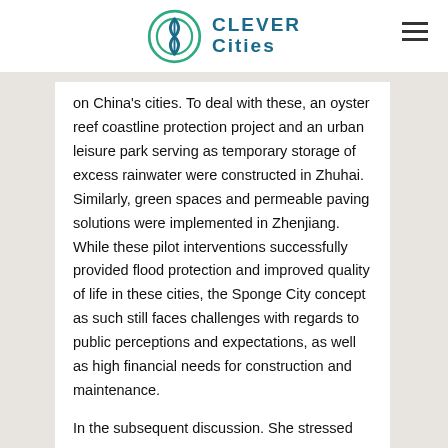CLEVER Cities
on China's cities. To deal with these, an oyster reef coastline protection project and an urban leisure park serving as temporary storage of excess rainwater were constructed in Zhuhai. Similarly, green spaces and permeable paving solutions were implemented in Zhenjiang. While these pilot interventions successfully provided flood protection and improved quality of life in these cities, the Sponge City concept as such still faces challenges with regards to public perceptions and expectations, as well as high financial needs for construction and maintenance.
In the subsequent discussion. She stressed